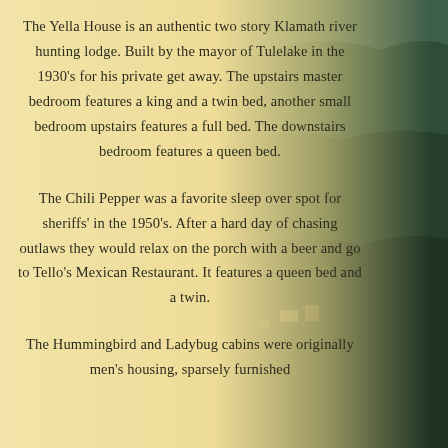The Yella House is an authentic two story Klamath river hunting lodge. Built by the mayor of Tulelake in the 1930's for his private get away. The upstairs master bedroom features a king and a twin bed, another small bedroom upstairs features a full bed. The downstairs bedroom features a queen bed.
The Chili Pepper was a favorite sleep over spot for sheriffs' in the 1950's. After a hard day of chasing outlaws they would relax on the porch with a beer and go to Tello's Mexican Restaurant. It features a queen bed and a twin.
The Hummingbird and Ladybug cabins were originally men's housing, sparsely furnished
[Figure (photo): Aerial or elevated view of a forested mountain landscape with green trees and some buildings visible below, partially overlaid by a warm yellowish text panel on the left.]